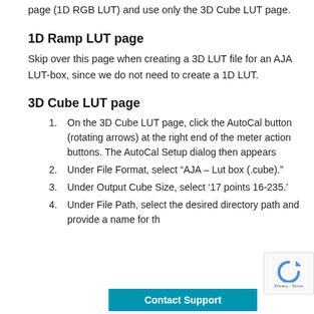page (1D RGB LUT) and use only the 3D Cube LUT page.
1D Ramp LUT page
Skip over this page when creating a 3D LUT file for an AJA LUT-box, since we do not need to create a 1D LUT.
3D Cube LUT page
On the 3D Cube LUT page, click the AutoCal button (rotating arrows) at the right end of the meter action buttons. The AutoCal Setup dialog then appears
Under File Format, select “AJA – Lut box (.cube).”
Under Output Cube Size, select ‘17 points 16-235.’
Under File Path, select the desired directory path and provide a name for th…